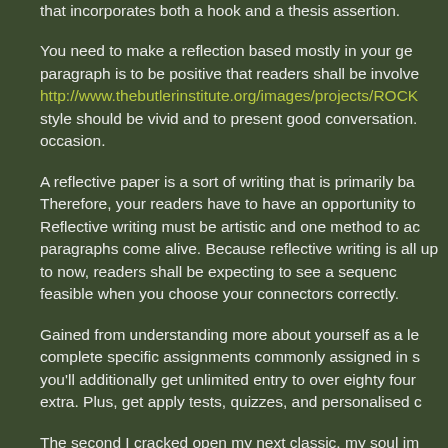that incorporates both a hook and a thesis assertion.
You need to make a reflection based mostly in your ge paragraph is to be positive that readers shall be involve http://www.thebutlerinstitute.org/images/projects/ROCK style should be vivid and to present good conversation. occasion.
A reflective paper is a sort of writing that is primarily ba Therefore, your readers have to have an opportunity to Reflective writing must be artistic and one method to ac paragraphs come alive. Because reflective writing is all up to now, readers shall be expecting to see a sequenc feasible when you choose your connectors correctly.
Gained from understanding more about yourself as a le complete specific assignments commonly assigned in s you'll additionally get unlimited entry to over eighty four extra. Plus, get apply tests, quizzes, and personalised c
The second I cracked open my next classic, my soul im